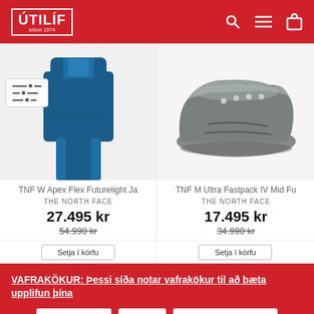ÚTILÍF síðon 1974
[Figure (photo): Blue jacket product image (TNF W Apex Flex Futurelight)]
[Figure (photo): Grey hiking shoe product image (TNF M Ultra Fastpack IV Mid Fu)]
TNF W Apex Flex Futurelight Ja
THE NORTH FACE
27.495 kr
54.990 kr
TNF M Ultra Fastpack IV Mid Fu
THE NORTH FACE
17.495 kr
34.990 kr
VAFRAKÖKUR: Þessi síða notar vafrakökur til að bæta upplifun þína
✓ SAMPYKKJA
LOKA
NÁNARI UPPLÝSINGAR